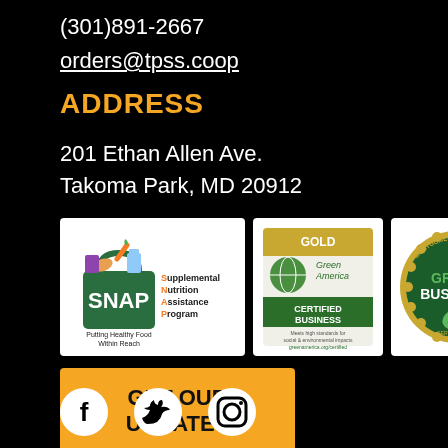(301)891-2667
orders@tpss.coop
ADDRESS
201 Ethan Allen Ave.
Takoma Park, MD 20912
[Figure (logo): SNAP - Supplemental Nutrition Assistance Program logo with text 'Putting Healthy Food Within Reach']
[Figure (logo): Green America GOLD Certified Business logo]
[Figure (logo): Montgomery County MD Green Business Certification Program logo]
GET OUR UPDATES
[Figure (logo): Facebook, Twitter, Instagram social media icons]